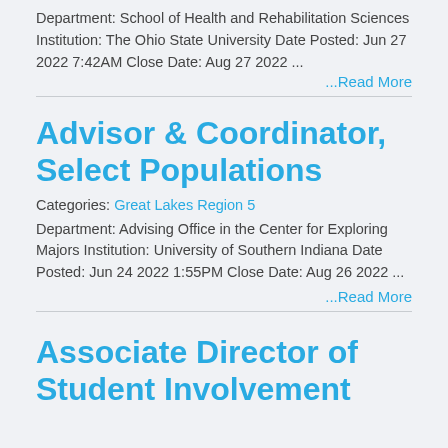Department: School of Health and Rehabilitation Sciences Institution: The Ohio State University Date Posted: Jun 27 2022 7:42AM Close Date: Aug 27 2022 ...
...Read More
Advisor & Coordinator, Select Populations
Categories: Great Lakes Region 5
Department: Advising Office in the Center for Exploring Majors Institution: University of Southern Indiana Date Posted: Jun 24 2022 1:55PM Close Date: Aug 26 2022 ...
...Read More
Associate Director of Student Involvement